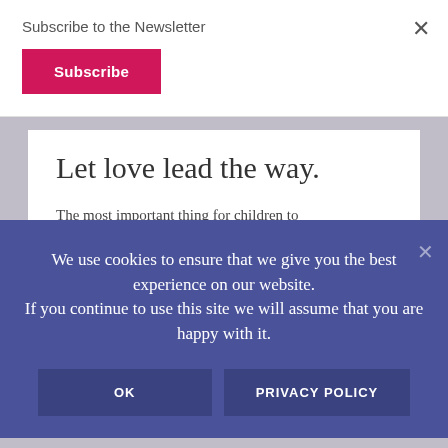Subscribe to the Newsletter
Subscribe
Let love lead the way.
The most important thing for children to
We use cookies to ensure that we give you the best experience on our website. If you continue to use this site we will assume that you are happy with it.
OK
PRIVACY POLICY